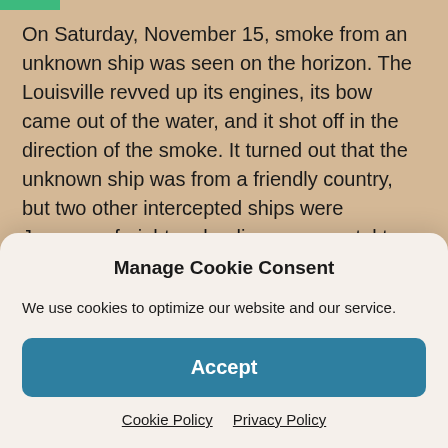On Saturday, November 15, smoke from an unknown ship was seen on the horizon. The Louisville revved up its engines, its bow came out of the water, and it shot off in the direction of the smoke. It turned out that the unknown ship was from a friendly country, but two other intercepted ships were Japanese freighters hauling scrap metal to Japan.
When they arrived at Guam on Sunday, November 16, the ships took on water, bananas, coconuts, and vegetables. Although they were not allowed off the ship, the soldiers
Manage Cookie Consent
We use cookies to optimize our website and our service.
Accept
Cookie Policy   Privacy Policy